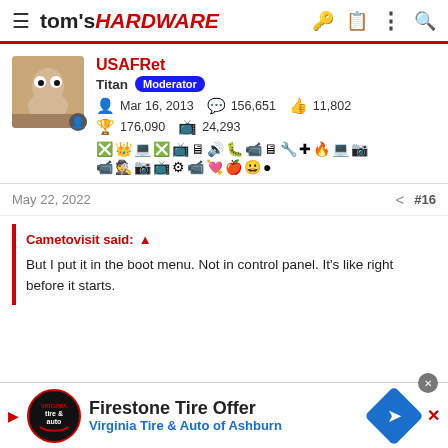tom's HARDWARE
USAFRet
Titan Moderator
Mar 16, 2013  156,651  11,802
176,090  24,293
May 22, 2022  #16
Cametovisit said:
But I put it in the boot menu. Not in control panel. It's like right before it starts.
[Figure (infographic): Firestone Tire Offer advertisement banner - Virginia Tire & Auto of Ashburn]